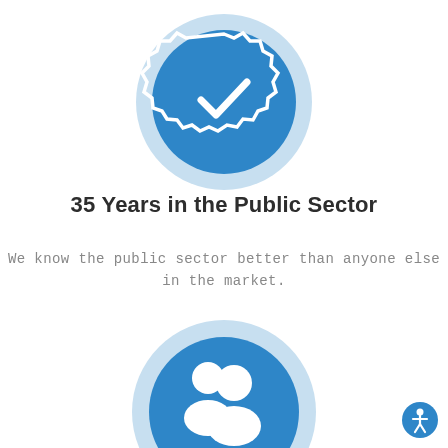[Figure (illustration): Blue circular badge icon with a checkmark inside, surrounded by a light blue ring — partially cropped at top of page]
35 Years in the Public Sector
We know the public sector better than anyone else in the market.
[Figure (illustration): Blue circular icon with a group of people (two figures) silhouette inside, surrounded by a light blue ring — partially cropped at bottom of page]
[Figure (illustration): Accessibility button (blue circle with white accessibility person icon) in bottom-right corner]